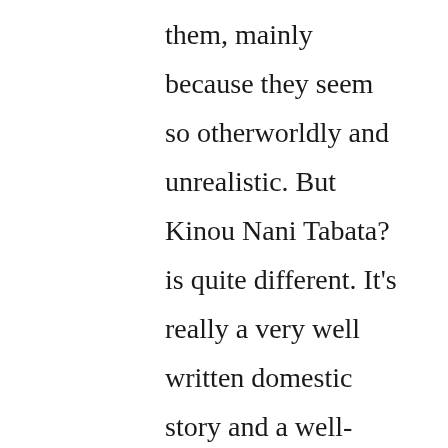them, mainly because they seem so otherworldly and unrealistic. But Kinou Nani Tabata? is quite different. It's really a very well written domestic story and a well-rounded portrayal of a couple who are essentially married, though they can't be legally married under Japanese law. Being gay in Japan is not an easy thing at all, especially if one works in a conservative field like